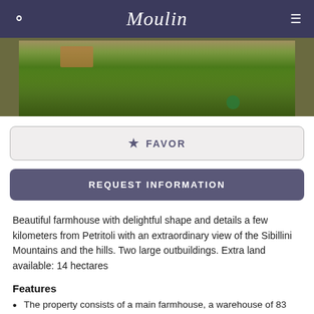Moulin
[Figure (photo): Partial view of a farmhouse lawn with green grass and shadows, bottom portion of image visible]
☆ FAVOR
REQUEST INFORMATION
Beautiful farmhouse with delightful shape and details a few kilometers from Petritoli with an extraordinary view of the Sibillini Mountains and the hills. Two large outbuildings. Extra land available: 14 hectares
Features
The property consists of a main farmhouse, a warehouse of 83 square meters and another of 94.
The main house is developed on 2 floors: